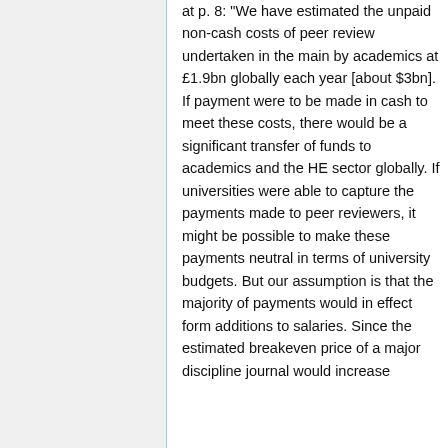at p. 8: "We have estimated the unpaid non-cash costs of peer review undertaken in the main by academics at £1.9bn globally each year [about $3bn]. If payment were to be made in cash to meet these costs, there would be a significant transfer of funds to academics and the HE sector globally. If universities were able to capture the payments made to peer reviewers, it might be possible to make these payments neutral in terms of university budgets. But our assumption is that the majority of payments would in effect form additions to salaries. Since the estimated breakeven price of a major discipline journal would increase